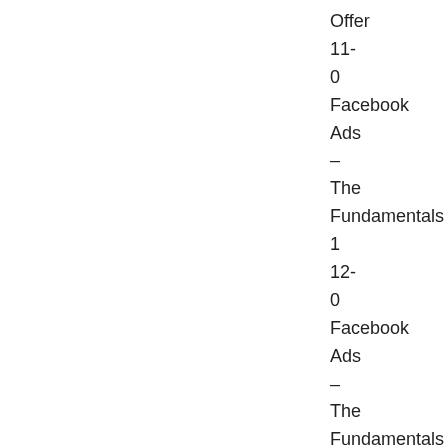Offer
11-
0
Facebook
Ads
–
The
Fundamentals
1
12-
0
Facebook
Ads
–
The
Fundamentals
2
13-
Offer
11-
0
Facebook
Ads
–
The
Fundamentals
1
12-
0
Facebook
Ads
–
The
Fundamentals
2
13-